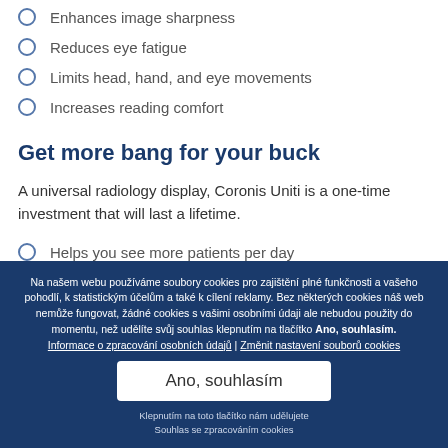Enhances image sharpness
Reduces eye fatigue
Limits head, hand, and eye movements
Increases reading comfort
Get more bang for your buck
A universal radiology display, Coronis Uniti is a one-time investment that will last a lifetime.
Helps you see more patients per day
Simplifies control and management of the display
Na našem webu používáme soubory cookies pro zajištění plné funkčnosti a vašeho pohodlí, k statistickým účelům a také k cílení reklamy. Bez některých cookies náš web nemůže fungovat, žádné cookies s vašimi osobními údaji ale nebudou použity do momentu, než udělíte svůj souhlas klepnutím na tlačítko Ano, souhlasím. Informace o zpracování osobních údajů | Změnit nastavení souborů cookies
Ano, souhlasím
Klepnutím na toto tlačítko nám udělujete Souhlas se zpracováním cookies